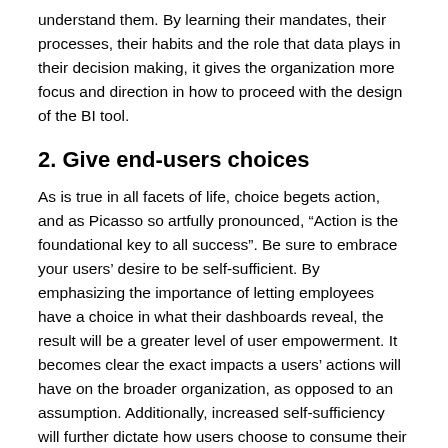understand them. By learning their mandates, their processes, their habits and the role that data plays in their decision making, it gives the organization more focus and direction in how to proceed with the design of the BI tool.
2. Give end-users choices
As is true in all facets of life, choice begets action, and as Picasso so artfully pronounced, “Action is the foundational key to all success”. Be sure to embrace your users’ desire to be self-sufficient. By emphasizing the importance of letting employees have a choice in what their dashboards reveal, the result will be a greater level of user empowerment. It becomes clear the exact impacts a users’ actions will have on the broader organization, as opposed to an assumption. Additionally, increased self-sufficiency will further dictate how users choose to consume their data. By ensuring that the focus is always on end-users and the choices they have regarding how and what their dashboards let them consume, their decision-making capabilities will be augmented by giving them this ability.